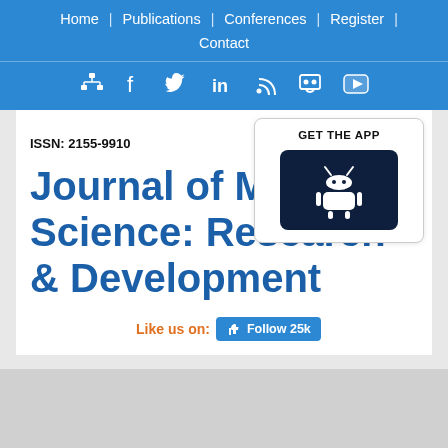Home | Publications | Conferences | Register | Contact
[Figure (other): Social media icons bar: network/sitemap, Facebook, Twitter, LinkedIn, RSS, Slideshare, YouTube]
[Figure (other): GET THE APP box with Android robot icon button on dark navy background]
ISSN: 2155-9910
Journal of Marine Science: Research & Development
Like us on: Follow 25k